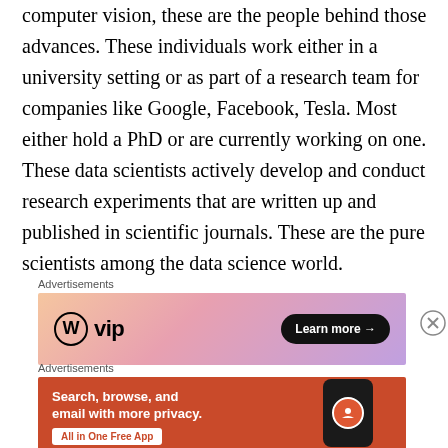computer vision, these are the people behind those advances. These individuals work either in a university setting or as part of a research team for companies like Google, Facebook, Tesla. Most either hold a PhD or are currently working on one. These data scientists actively develop and conduct research experiments that are written up and published in scientific journals. These are the pure scientists among the data science world.
[Figure (other): Advertisement banner for WordPress VIP with gradient background (orange to purple), WP logo on left, 'Learn more →' button on right]
[Figure (other): Advertisement banner for DuckDuckGo on orange background showing 'Search, browse, and email with more privacy. All in One Free App' with phone image and DuckDuckGo logo]